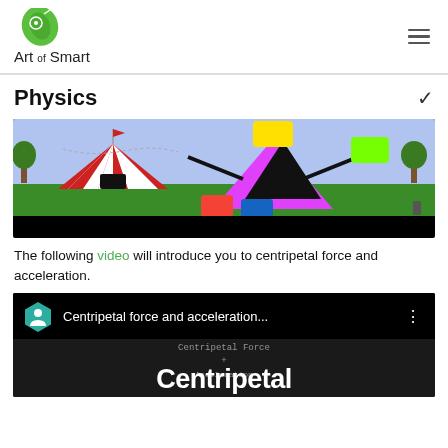Art of Smart
Physics
[Figure (screenshot): Animated carnival scene with a circus tent on the left, trees, and a colorful amusement ride (pink/magenta structure with yellow, green, red, blue arms) on the right, with a black bar below it (video thumbnail).]
The following video will introduce you to centripetal force and acceleration.
[Figure (screenshot): Video thumbnail for 'Centripetal force and acceleration...' showing the Art of Smart icon (teal hexagon with person), video title in white text, and blackboard content with handwritten 'Centripetal Force and Acceleration' and large white bold text 'Centripetal'.]